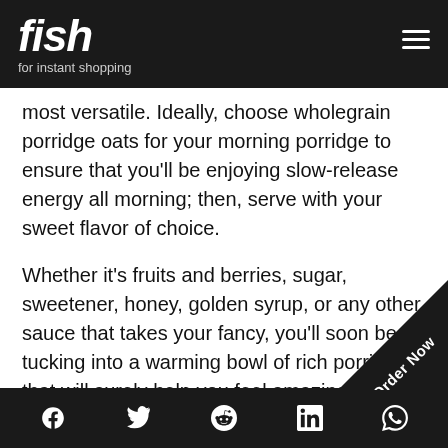fish for instant shopping
most versatile. Ideally, choose wholegrain porridge oats for your morning porridge to ensure that you'll be enjoying slow-release energy all morning; then, serve with your sweet flavor of choice.
Whether it's fruits and berries, sugar, sweetener, honey, golden syrup, or any other sauce that takes your fancy, you'll soon be tucking into a warming bowl of rich porridge that will surely help you feel amazing.
Sweet Rice Porridge
f  Twitter  Reddit  in  WhatsApp  Order Now